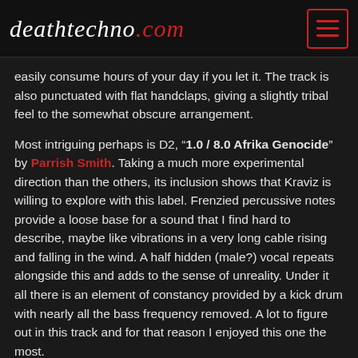deathtechno.com
easily consume hours of your day if you let it. The track is also punctuated with flat handclaps, giving a slightly tribal feel to the somewhat obscure arrangement.
Most intriguing perhaps is D2, “1.0 / 8.0 Afrika Genocide” by Parrish Smith. Taking a much more experimental direction than the others, its inclusion shows that Kraviz is willing to explore with this label. Frenzied percussive notes provide a loose base for a sound that I find hard to describe, maybe like vibrations in a very long cable rising and falling in the wind. A half hidden (male?) vocal repeats alongside this and adds to the sense of unreality. Under it all there is an element of constancy provided by a kick drum with nearly all the bass frequency removed. A lot to figure out in this track and for that reason I enjoyed this one the most.
For the other tracks on offer, Exos provides some clinical hypnotising techno in the form of “Nuclear Red Guard.”